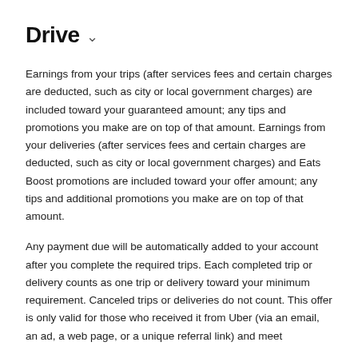Drive
Earnings from your trips (after services fees and certain charges are deducted, such as city or local government charges) are included toward your guaranteed amount; any tips and promotions you make are on top of that amount. Earnings from your deliveries (after services fees and certain charges are deducted, such as city or local government charges) and Eats Boost promotions are included toward your offer amount; any tips and additional promotions you make are on top of that amount.
Any payment due will be automatically added to your account after you complete the required trips. Each completed trip or delivery counts as one trip or delivery toward your minimum requirement. Canceled trips or deliveries do not count. This offer is only valid for those who received it from Uber (via an email, an ad, a web page, or a unique referral link) and meet